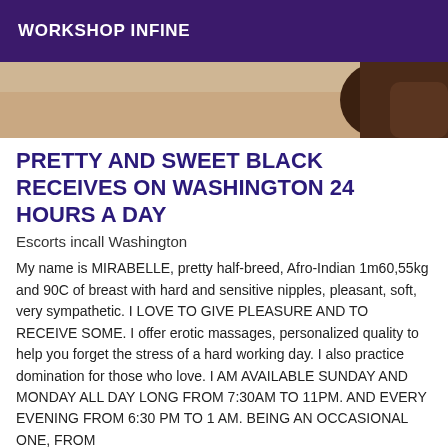WORKSHOP INFINE
[Figure (photo): Partial photo of a person, showing skin tones of beige and dark brown, cropped at top of page]
PRETTY AND SWEET BLACK RECEIVES ON WASHINGTON 24 HOURS A DAY
Escorts incall Washington
My name is MIRABELLE, pretty half-breed, Afro-Indian 1m60,55kg and 90C of breast with hard and sensitive nipples, pleasant, soft, very sympathetic. I LOVE TO GIVE PLEASURE AND TO RECEIVE SOME. I offer erotic massages, personalized quality to help you forget the stress of a hard working day. I also practice domination for those who love. I AM AVAILABLE SUNDAY AND MONDAY ALL DAY LONG FROM 7:30AM TO 11PM. AND EVERY EVENING FROM 6:30 PM TO 1 AM. BEING AN OCCASIONAL ONE, FROM